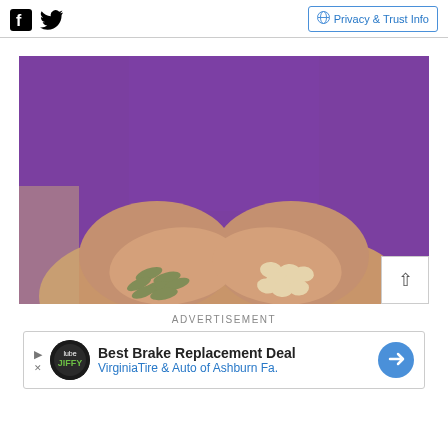Facebook Twitter | Privacy & Trust Info
[Figure (photo): A person wearing a purple top holds out two open palms, each containing a handful of supplement pills and capsules — green capsules in the left hand and white/beige tablets in the right hand.]
ADVERTISEMENT
[Figure (other): Advertisement banner: Best Brake Replacement Deal — VirginiaTire & Auto of Ashburn Fa.]